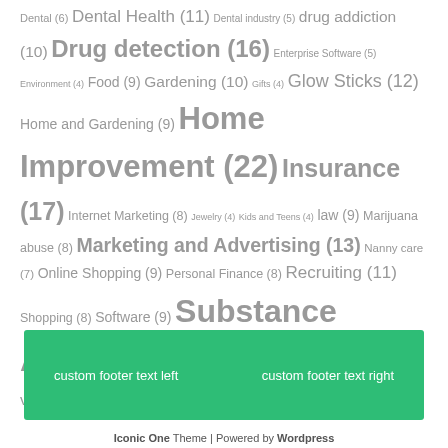Dental (6) Dental Health (11) Dental industry (5) drug addiction (10) Drug detection (16) Enterprise Software (5) Environment (4) Food (9) Gardening (10) Gifts (4) Glow Sticks (12) Home and Gardening (9) Home Improvement (22) Insurance (17) Internet Marketing (8) Jewelry (4) Kids and Teens (4) law (9) Marijuana abuse (8) Marketing and Advertising (13) Nanny care (7) Online Shopping (9) Personal Finance (8) Recruiting (11) Shopping (8) Software (9) Substance Abuse (23) Translation (5) Transportation (5) Travel (6) vitamins (10) website monitoring (12) wedding (5) Yoga (8)
custom footer text left | custom footer text right
Iconic One Theme | Powered by Wordpress